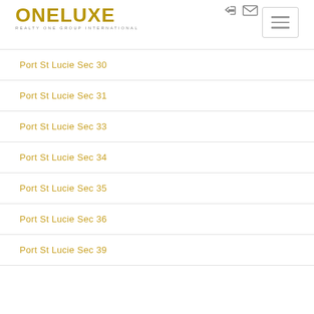[Figure (logo): OneLuxe Realty One Group International logo with gold text]
Port St Lucie Sec 30
Port St Lucie Sec 31
Port St Lucie Sec 33
Port St Lucie Sec 34
Port St Lucie Sec 35
Port St Lucie Sec 36
Port St Lucie Sec 39